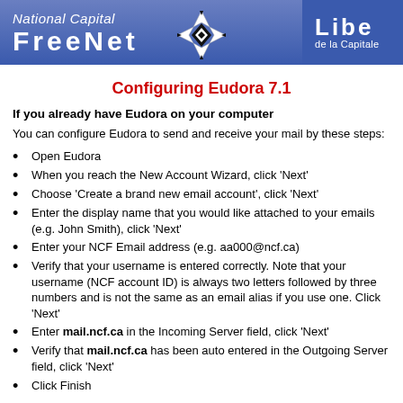[Figure (logo): National Capital FreeNet banner header with logo and partial text 'Libe de la Capitale']
Configuring Eudora 7.1
If you already have Eudora on your computer
You can configure Eudora to send and receive your mail by these steps:
Open Eudora
When you reach the New Account Wizard, click 'Next'
Choose 'Create a brand new email account', click 'Next'
Enter the display name that you would like attached to your emails (e.g. John Smith), click 'Next'
Enter your NCF Email address (e.g. aa000@ncf.ca)
Verify that your username is entered correctly. Note that your username (NCF account ID) is always two letters followed by three numbers and is not the same as an email alias if you use one. Click 'Next'
Enter mail.ncf.ca in the Incoming Server field, click 'Next'
Verify that mail.ncf.ca has been auto entered in the Outgoing Server field, click 'Next'
Click Finish
Now, set up Eudora for secure access: